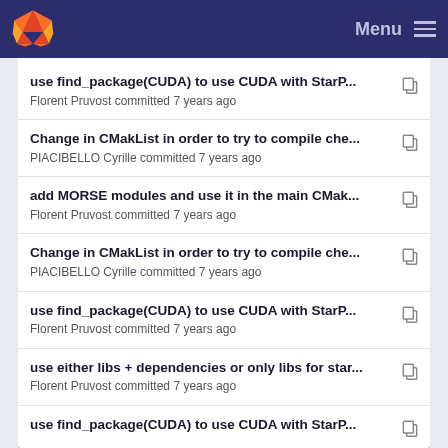GitLab - Menu
use find_package(CUDA) to use CUDA with StarP...
Florent Pruvost committed 7 years ago
Change in CMakList in order to try to compile che...
PIACIBELLO Cyrille committed 7 years ago
add MORSE modules and use it in the main CMak...
Florent Pruvost committed 7 years ago
Change in CMakList in order to try to compile che...
PIACIBELLO Cyrille committed 7 years ago
use find_package(CUDA) to use CUDA with StarP...
Florent Pruvost committed 7 years ago
use either libs + dependencies or only libs for star...
Florent Pruvost committed 7 years ago
use find_package(CUDA) to use CUDA with StarP...